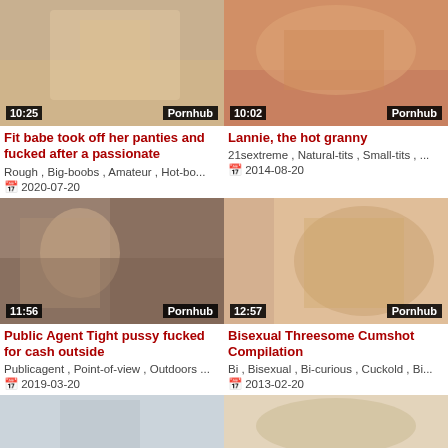[Figure (screenshot): Video thumbnail 1: 10:25, Pornhub]
Fit babe took off her panties and fucked after a passionate
Rough , Big-boobs , Amateur , Hot-bo...
2020-07-20
[Figure (screenshot): Video thumbnail 2: 10:02, Pornhub]
Lannie, the hot granny
21sextreme , Natural-tits , Small-tits , ...
2014-08-20
[Figure (screenshot): Video thumbnail 3: 11:56, Pornhub]
Public Agent Tight pussy fucked for cash outside
Publicagent , Point-of-view , Outdoors ...
2019-03-20
[Figure (screenshot): Video thumbnail 4: 12:57, Pornhub]
Bisexual Threesome Cumshot Compilation
Bi , Bisexual , Bi-curious , Cuckold , Bi...
2013-02-20
[Figure (screenshot): Video thumbnail 5: bottom left partial]
[Figure (screenshot): Video thumbnail 6: bottom right partial]